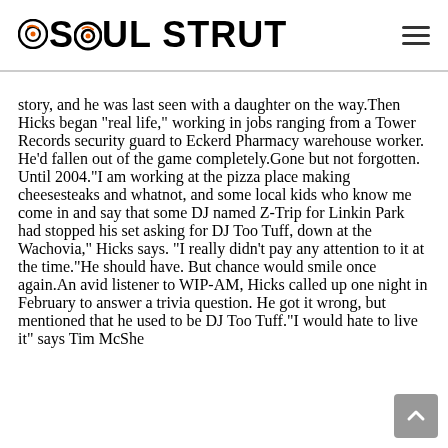SOUL STRUT
story, and he was last seen with a daughter on the way.Then Hicks began "real life," working in jobs ranging from a Tower Records security guard to Eckerd Pharmacy warehouse worker. He'd fallen out of the game completely.Gone but not forgotten. Until 2004."I am working at the pizza place making cheesesteaks and whatnot, and some local kids who know me come in and say that some DJ named Z-Trip for Linkin Park had stopped his set asking for DJ Too Tuff, down at the Wachovia," Hicks says. "I really didn't pay any attention to it at the time."He should have. But chance would smile once again.An avid listener to WIP-AM, Hicks called up one night in February to answer a trivia question. He got it wrong, but mentioned that he used to be DJ Too Tuff."I would hate to live it" says Tim McSheedy